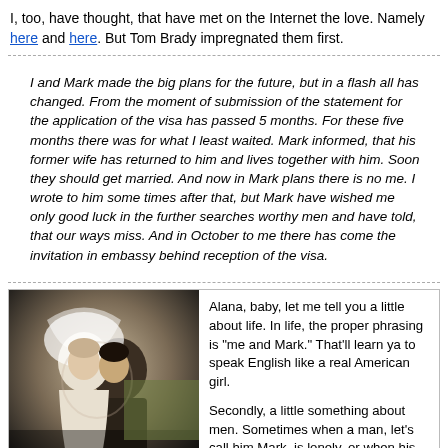I, too, have thought, that have met on the Internet the love. Namely here and here. But Tom Brady impregnated them first.
I and Mark made the big plans for the future, but in a flash all has changed. From the moment of submission of the statement for the application of the visa has passed 5 months. For these five months there was for what I least waited. Mark informed, that his former wife has returned to him and lives together with him. Soon they should get married. And now in Mark plans there is no me. I wrote to him some times after that, but Mark have wished me only good luck in the further searches worthy men and have told, that our ways miss. And in October to me there has come the invitation in embassy behind reception of the visa.
[Figure (photo): A bride and groom kissing or embracing at a wedding. The bride is wearing a white wedding dress and veil, and the groom is in a dark suit.]
Alana, baby, let me tell you a little about life. In life, the proper phrasing is "me and Mark." That'll learn ya to speak English like a real American girl.

Secondly, a little something about men. Sometimes when a man, let's call him Mark, is lonely, or when his wife, let's call her Mindy, isn't, ahem